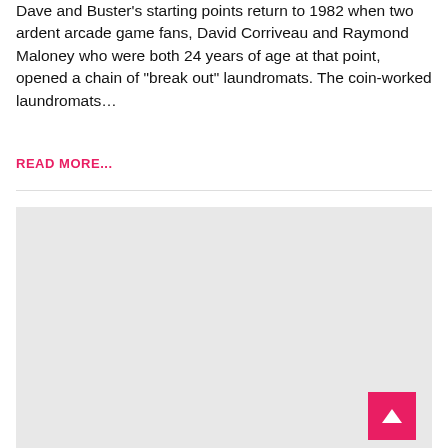Dave and Buster's starting points return to 1982 when two ardent arcade game fans, David Corriveau and Raymond Maloney who were both 24 years of age at that point, opened a chain of "break out" laundromats. The coin-worked laundromats…
READ MORE...
[Figure (other): Large light gray placeholder/advertisement box below a horizontal divider, with a pink back-to-top button (upward arrow) at the bottom right corner.]